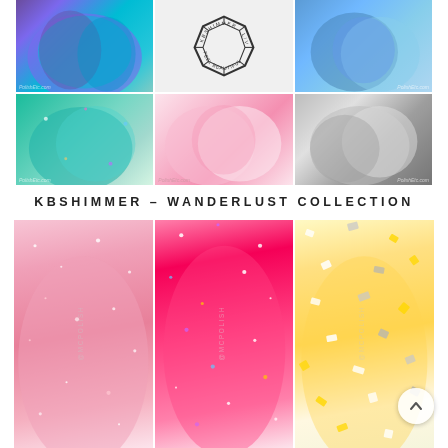[Figure (photo): 6-panel grid of nail polish swatches: top row shows purple-teal duochrome nails, a KBShimmer brand logo (geometric crystal shape), and blue shimmer nails; bottom row shows teal holographic nails, light pink cream nails, and silver metallic nails. Watermark text 'PolishEtc.com' on corners.]
KBSHIMMER - WANDERLUST COLLECTION
[Figure (photo): 3-panel grid of close-up nail polish glitter swatches: left panel shows light pink glitter/shimmer nails, center panel shows bright pink holographic glitter nails, right panel shows gold/silver chunky glitter nails. All panels have faint '@McPolish' watermark text arranged in a circle.]